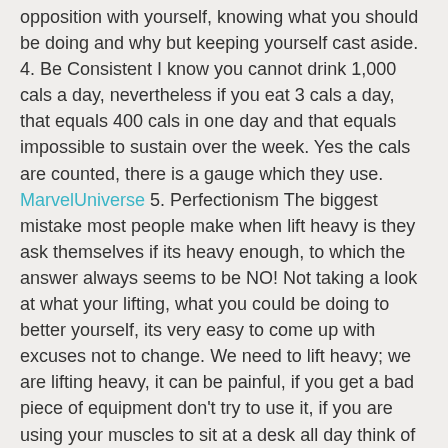opposition with yourself, knowing what you should be doing and why but keeping yourself cast aside. 4. Be Consistent I know you cannot drink 1,000 cals a day, nevertheless if you eat 3 cals a day, that equals 400 cals in one day and that equals impossible to sustain over the week. Yes the cals are counted, there is a gauge which they use. MarvelUniverse 5. Perfectionism The biggest mistake most people make when lift heavy is they ask themselves if its heavy enough, to which the answer always seems to be NO! Not taking a look at what your lifting, what you could be doing to better yourself, its very easy to come up with excuses not to change. We need to lift heavy; we are lifting heavy, it can be painful, if you get a bad piece of equipment don't try to use it, if you are using your muscles to sit at a desk all day think of other things you can do, throw away the mouse. 6. Being Overwhelmed In my experience almost every person is much stronger in the gym than they let on. The main reason for this are nerves.